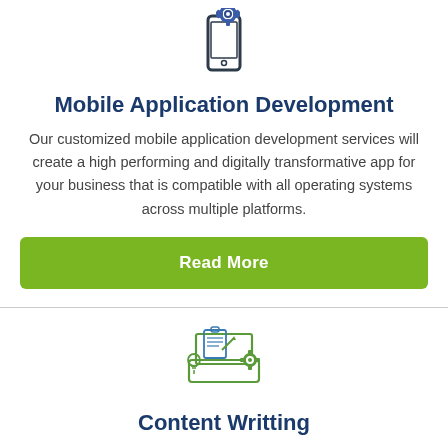[Figure (illustration): Mobile phone with gear/cog icon representing mobile application development]
Mobile Application Development
Our customized mobile application development services will create a high performing and digitally transformative app for your business that is compatible with all operating systems across multiple platforms.
Read More
[Figure (illustration): Laptop with clipboard, pen, lightbulb and gear icons representing content writing services]
Content Writting
We are experts in creating compelling and valuable